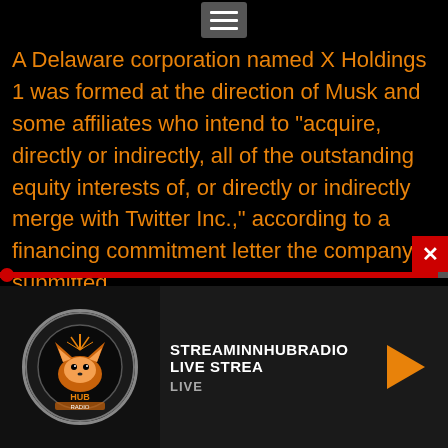[Figure (other): Hamburger menu icon (three horizontal lines on a grey background) at top center]
A Delaware corporation named X Holdings 1 was formed at the direction of Musk and some affiliates who intend to "acquire, directly or indirectly, all of the outstanding equity interests of, or directly or indirectly merge with Twitter Inc.," according to a financing commitment letter the company submitted.
Shares of Twitter rose slightly to $46.86 in Thursday midday trading after the financing became public. The share price is $7.34 below Musk's offer.
[Figure (logo): StreamInnHubRadio logo — circular emblem with fox/animal silhouette, radio tower, on dark background]
STREAMINNHUBRADIO LIVE STREA
LIVE